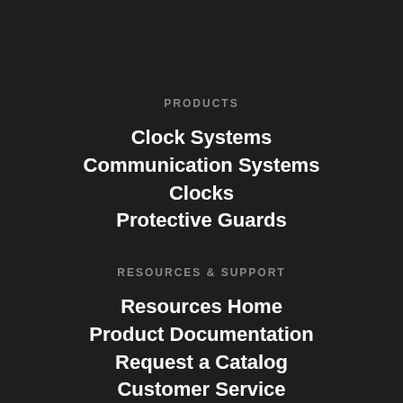PRODUCTS
Clock Systems
Communication Systems
Clocks
Protective Guards
RESOURCES & SUPPORT
Resources Home
Product Documentation
Request a Catalog
Customer Service